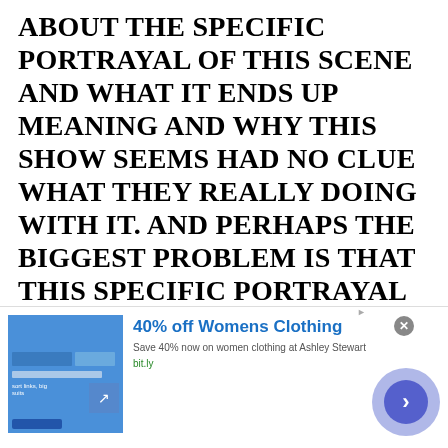ABOUT THE SPECIFIC PORTRAYAL OF THIS SCENE AND WHAT IT ENDS UP MEANING AND WHY THIS SHOW SEEMS HAD NO CLUE WHAT THEY REALLY DOING WITH IT. AND PERHAPS THE BIGGEST PROBLEM IS THAT THIS SPECIFIC PORTRAYAL IS SOMETHING HULK SEES TIME AND TIME AGAIN IN DARK AND GRITTY "ADULT" SHOWS, WHICH MEANS THAT, YES, THIS IS INADVERTENTLY ABOUT HOW WE AS A CULTURE KEEP PERPETUATING A SPECIFIC WAY OF WE INTEGRATE RAPE INTO OUR STORYTELLING (HINT: IT'S A PRETTY
[Figure (screenshot): Advertisement banner: '40% off Womens Clothing' from Ashley Stewart at bit.ly, with product image on left and a circular arrow button on right.]